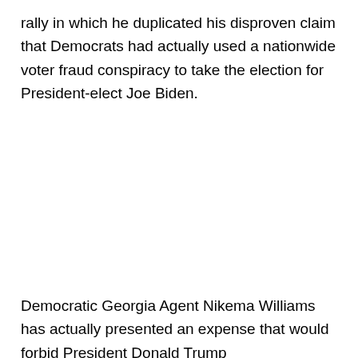rally in which he duplicated his disproven claim that Democrats had actually used a nationwide voter fraud conspiracy to take the election for President-elect Joe Biden.
Democratic Georgia Agent Nikema Williams has actually presented an expense that would forbid President Donald Trump